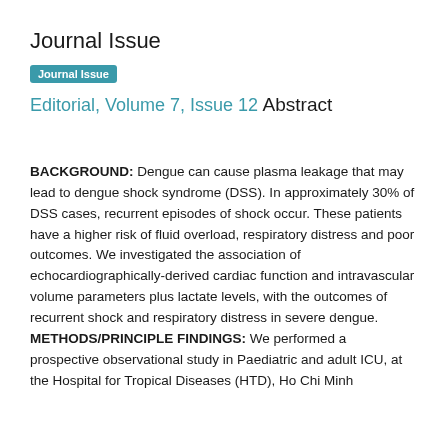Journal Issue
Journal Issue
Editorial, Volume 7, Issue 12
Abstract
BACKGROUND: Dengue can cause plasma leakage that may lead to dengue shock syndrome (DSS). In approximately 30% of DSS cases, recurrent episodes of shock occur. These patients have a higher risk of fluid overload, respiratory distress and poor outcomes. We investigated the association of echocardiographically-derived cardiac function and intravascular volume parameters plus lactate levels, with the outcomes of recurrent shock and respiratory distress in severe dengue. METHODS/PRINCIPLE FINDINGS: We performed a prospective observational study in Paediatric and adult ICU, at the Hospital for Tropical Diseases (HTD), Ho Chi Minh